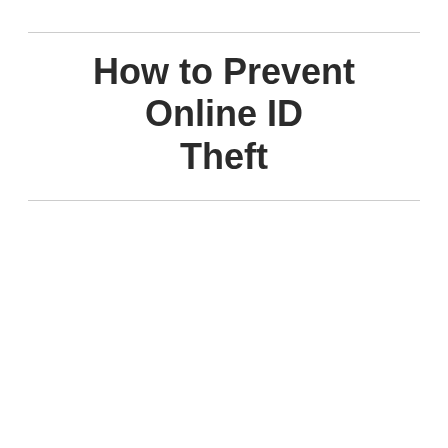How to Prevent Online ID Theft